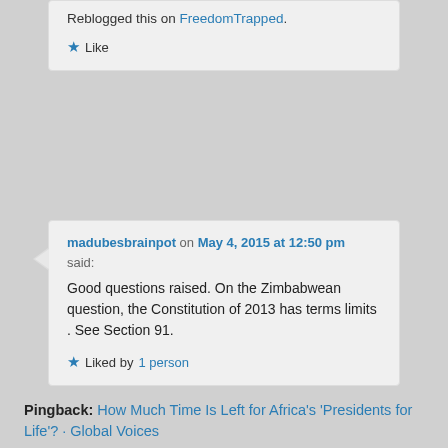Reblogged this on FreedomTrapped.
★ Like
madubesbrainpot on May 4, 2015 at 12:50 pm said:
Good questions raised. On the Zimbabwean question, the Constitution of 2013 has terms limits . See Section 91.
★ Liked by 1 person
Pingback: How Much Time Is Left for Africa's 'Presidents for Life'? · Global Voices
Amina Ahmed on April 18, 2016 at 1:34 am